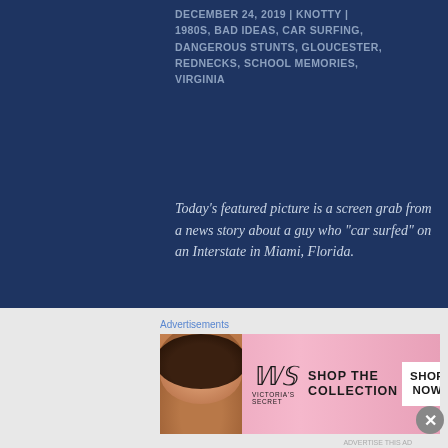DECEMBER 24, 2019 | KNOTTY | 1980S, BAD IDEAS, CAR SURFING, DANGEROUS STUNTS, GLOUCESTER, REDNECKS, SCHOOL MEMORIES, VIRGINIA
Today’s featured picture is a screen grab from a news story about a guy who “car surfed” on an Interstate in Miami, Florida.
Merry Christmas Eve, everyone. I have decided to rerun this post from my original blog especially for my dear friend, Audra, who also grew up in Gloucester County. Bill and I
[Figure (illustration): Victoria's Secret advertisement banner showing a model with curly hair, VS logo, 'SHOP THE COLLECTION' text, and a 'SHOP NOW' button on a pink gradient background]